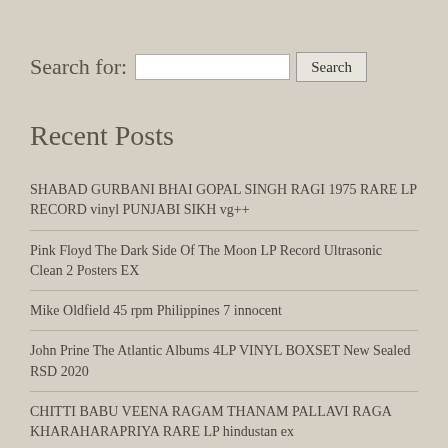Search for:
Recent Posts
SHABAD GURBANI BHAI GOPAL SINGH RAGI 1975 RARE LP RECORD vinyl PUNJABI SIKH vg++
Pink Floyd The Dark Side Of The Moon LP Record Ultrasonic Clean 2 Posters EX
Mike Oldfield 45 rpm Philippines 7 innocent
John Prine The Atlantic Albums 4LP VINYL BOXSET New Sealed RSD 2020
CHITTI BABU VEENA RAGAM THANAM PALLAVI RAGA KHARAHARAPRIYA RARE LP hindustan ex